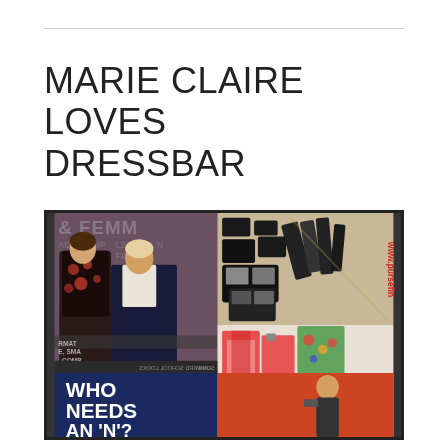MARIE CLAIRE LOVES DRESSBAR
[Figure (photo): Collage photo showing two women posing in front of a text backdrop on the left, makeup products display in the upper right, colorful clothing rack in the lower right, and a dark blue sign reading 'WHO NEEDS AN N?' in the lower left. The right side has a vertical watermark text 'www.purseforum' or similar.]